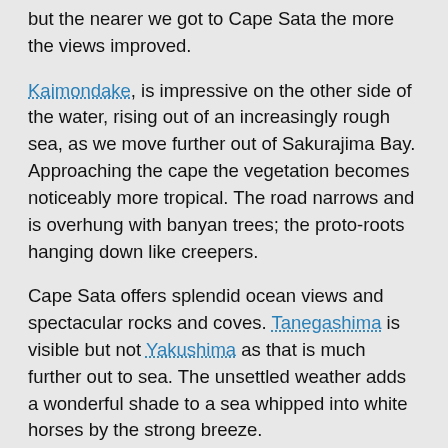but the nearer we got to Cape Sata the more the views improved.
Kaimondake, is impressive on the other side of the water, rising out of an increasingly rough sea, as we move further out of Sakurajima Bay. Approaching the cape the vegetation becomes noticeably more tropical. The road narrows and is overhung with banyan trees; the proto-roots hanging down like creepers.
Cape Sata offers splendid ocean views and spectacular rocks and coves. Tanegashima is visible but not Yakushima as that is much further out to sea. The unsettled weather adds a wonderful shade to a sea whipped into white horses by the strong breeze.